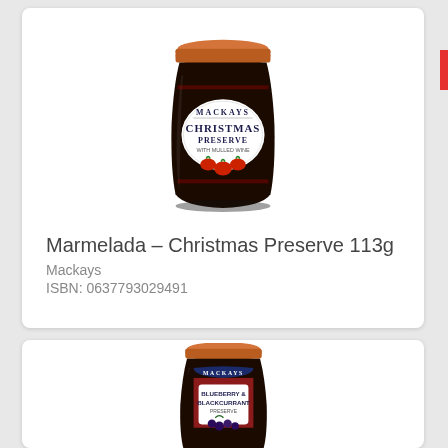[Figure (photo): Mackays Christmas Preserve 113g jam jar with copper lid and dark label showing strawberries and mulled wine]
Marmelada – Christmas Preserve 113g
Mackays
ISBN: 0637793029491
[Figure (photo): Mackays Blueberry & Blackcurrant Preserve jam jar with copper lid, dark label with blueberries]